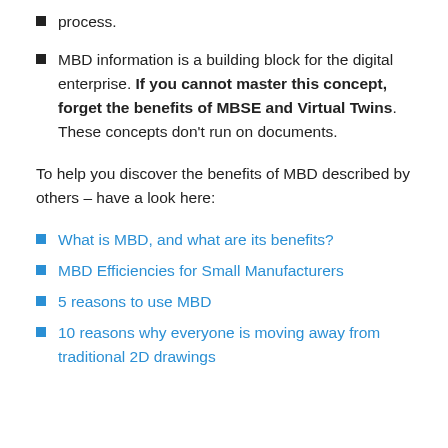process.
MBD information is a building block for the digital enterprise. If you cannot master this concept, forget the benefits of MBSE and Virtual Twins. These concepts don't run on documents.
To help you discover the benefits of MBD described by others – have a look here:
What is MBD, and what are its benefits?
MBD Efficiencies for Small Manufacturers
5 reasons to use MBD
10 reasons why everyone is moving away from traditional 2D drawings